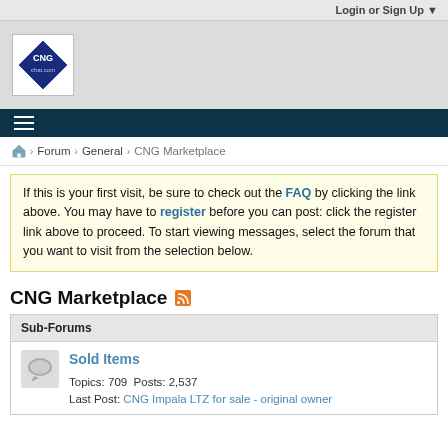Login or Sign Up ▼
[Figure (logo): CNG chat.com diamond-shaped logo on white background]
≡ (hamburger menu)
🏠 > Forum > General > CNG Marketplace
If this is your first visit, be sure to check out the FAQ by clicking the link above. You may have to register before you can post: click the register link above to proceed. To start viewing messages, select the forum that you want to visit from the selection below.
CNG Marketplace
Sub-Forums
Sold Items
Topics: 709 Posts: 2,537
Last Post: CNG Impala LTZ for sale - original owner